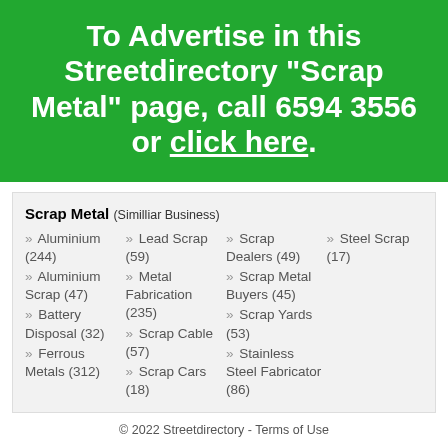[Figure (infographic): Green banner advertisement for Streetdirectory Scrap Metal page with text 'To Advertise in this Streetdirectory "Scrap Metal" page, call 6594 3556 or click here.']
Scrap Metal (Similliar Business)
» Aluminium (244)
» Aluminium Scrap (47)
» Battery Disposal (32)
» Ferrous Metals (312)
» Lead Scrap (59)
» Metal Fabrication (235)
» Scrap Cable (57)
» Scrap Cars (18)
» Scrap Dealers (49)
» Scrap Metal Buyers (45)
» Scrap Yards (53)
» Stainless Steel Fabricator (86)
» Steel Scrap (17)
© 2022 Streetdirectory - Terms of Use